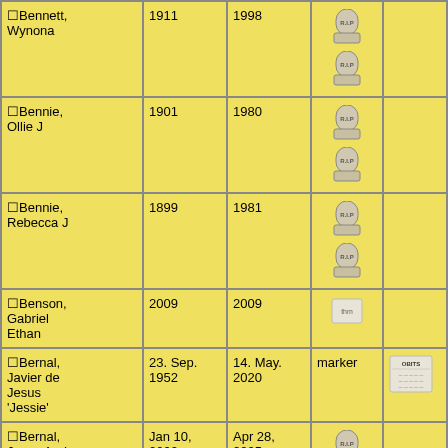| Name | Birth | Death | Photo1 | Photo2 | Memorial |
| --- | --- | --- | --- | --- | --- |
| ☐Bennett, Wynona | 1911 | 1998 | [RIP][RIP] |  | Last Supper |
| ☐Bennie, Ollie J | 1901 | 1980 | [RIP][RIP] |  | Good Shepherd |
| ☐Bennie, Rebecca J | 1899 | 1981 | [RIP][RIP] |  | Good Shepherd |
| ☐Benson, Gabriel Ethan | 2009 | 2009 | [thm] |  | Innocence |
| ☐Bernal, Javier de Jesus 'Jessie' | 23. Sep. 1952 | 14. May. 2020 | marker | [OBITS] | Memories |
| ☐Bernal, Jesus Andres | Jan 10, 2002 | Apr 28, 2005 | [RIP][RIP] |  | Memories |
| ☐Berry, | Jun 16, | Aug 19, | [RIP] |  | Love |